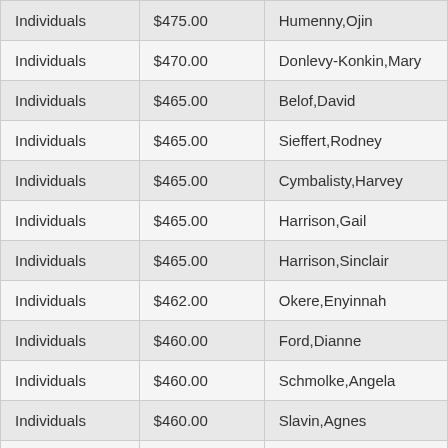| Individuals | $475.00 | Humenny,Ojin |
| Individuals | $470.00 | Donlevy-Konkin,Mary |
| Individuals | $465.00 | Belof,David |
| Individuals | $465.00 | Sieffert,Rodney |
| Individuals | $465.00 | Cymbalisty,Harvey |
| Individuals | $465.00 | Harrison,Gail |
| Individuals | $465.00 | Harrison,Sinclair |
| Individuals | $462.00 | Okere,Enyinnah |
| Individuals | $460.00 | Ford,Dianne |
| Individuals | $460.00 | Schmolke,Angela |
| Individuals | $460.00 | Slavin,Agnes |
| Individuals | $460.00 | Nerbas,Garry |